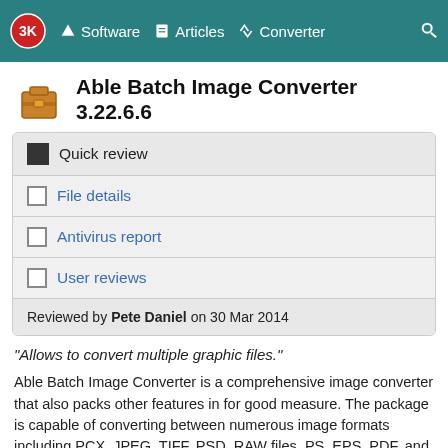3K Software  Articles  Converter  Search
Able Batch Image Converter 3.22.6.6
Quick review
File details
Antivirus report
User reviews
Reviewed by Pete Daniel on 30 Mar 2014
"Allows to convert multiple graphic files."
Able Batch Image Converter is a comprehensive image converter that also packs other features in for good measure. The package is capable of converting between numerous image formats including PCX, JPEG, TIFF, PSD, RAW files, PS, EPS, PDF, and WMF. Images can be added and converted as a large batch to save time. Run it in the background and leave it to complete while you continue other important work. Editing is also an option for images, to add watermarks, change margins, make improvements to color